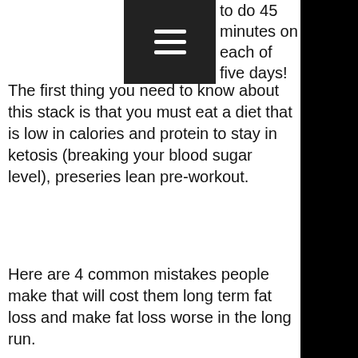to do 45 minutes on each of five days!
The first thing you need to know about this stack is that you must eat a diet that is low in calories and protein to stay in ketosis (breaking your blood sugar level), preseries lean pre-workout.
Here are 4 common mistakes people make that will cost them long term fat loss and make fat loss worse in the long run.
Mistake #1: They ignore how much muscle they will need to lose, bulk supplements dubai.
If you look at what I'm trying to say here, the problem seems pretty obvious to me, bulk supplements dubai.
People can train all they want, while still losing fat.